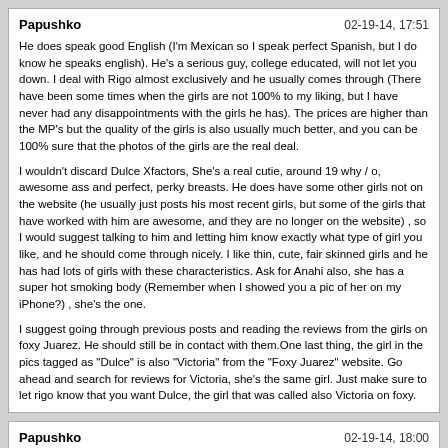Papushko | 02-19-14, 17:51
He does speak good English (I'm Mexican so I speak perfect Spanish, but I do know he speaks english). He's a serious guy, college educated, will not let you down. I deal with Rigo almost exclusively and he usually comes through (There have been some times when the girls are not 100% to my liking, but I have never had any disappointments with the girls he has). The prices are higher than the MP's but the quality of the girls is also usually much better, and you can be 100% sure that the photos of the girls are the real deal.

I wouldn't discard Dulce Xfactors, She's a real cutie, around 19 why / o, awesome ass and perfect, perky breasts. He does have some other girls not on the website (he usually just posts his most recent girls, but some of the girls that have worked with him are awesome, and they are no longer on the website) , so I would suggest talking to him and letting him know exactly what type of girl you like, and he should come through nicely. I like thin, cute, fair skinned girls and he has had lots of girls with these characteristics. Ask for Anahi also, she has a super hot smoking body (Remember when I showed you a pic of her on my iPhone?) , she's the one.

I suggest going through previous posts and reading the reviews from the girls on foxy Juarez. He should still be in contact with them.One last thing, the girl in the pics tagged as "Dulce" is also "Victoria" from the "Foxy Juarez" website. Go ahead and search for reviews for Victoria, she's the same girl. Just make sure to let rigo know that you want Dulce, the girl that was called also Victoria on foxy.
Papushko | 02-19-14, 18:00
One last thing, the girl in the pics tagged as "Dulce" is also "Victoria" from the "Foxy Juarez" website. Go ahead and search for reviews for Victoria, she's the same girl. Just make sure to let rigo know that you want Dulce, the girl that was called also Victoria on foxy.Oh, also ask for stephy!